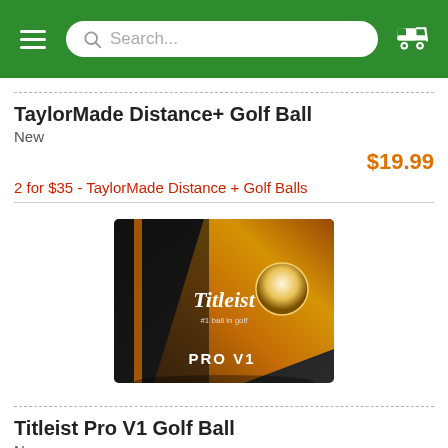Search...
TaylorMade Distance+ Golf Ball
New
$19.99
2 for $35 - TaylorMade Distance + Golf Balls
[Figure (photo): Titleist Pro V1 Golf Ball box in black with gold/orange diamond design]
Titleist Pro V1 Golf Ball
New
$49.99